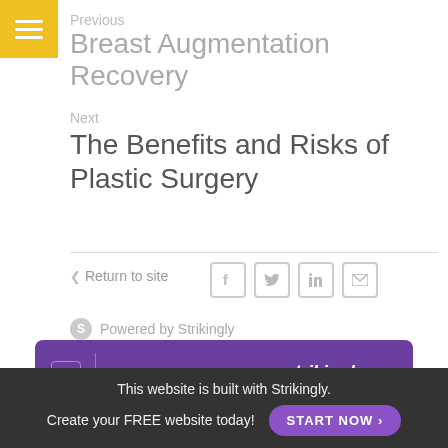Previous
Breast Augmentation Recovery
Next
The Benefits and Risks of Plastic Surgery
< Return to site
[Figure (infographic): Social media share icons: Facebook, Twitter, LinkedIn, Email]
Powered by Strikingly
[Figure (infographic): Purple banner: CREATE A SITE WITH strikingly]
This website is built with Strikingly.
Create your FREE website today!
START NOW >